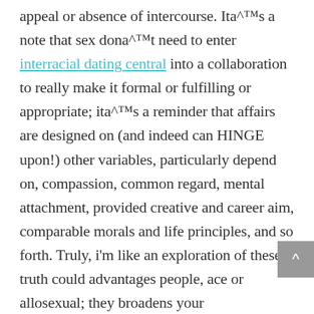appeal or absence of intercourse. Itâ™s a note that sex donâ™t need to enter interracial dating central into a collaboration to really make it formal or fulfilling or appropriate; itâ™s a reminder that affairs are designed on (and indeed can HINGE upon!) other variables, particularly depend on, compassion, common regard, mental attachment, provided creative and career aim, comparable morals and life principles, and so forth. Truly, iâm like an exploration of these truth could advantages people, ace or allosexual; they broadens your